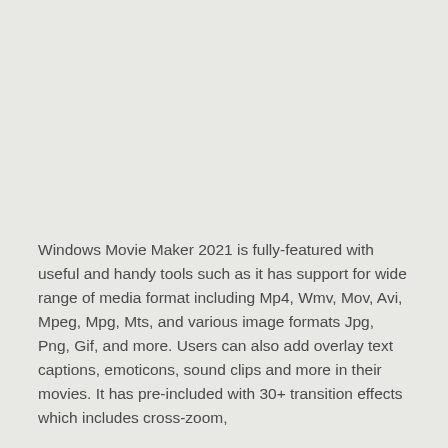Windows Movie Maker 2021 is fully-featured with useful and handy tools such as it has support for wide range of media format including Mp4, Wmv, Mov, Avi, Mpeg, Mpg, Mts, and various image formats Jpg, Png, Gif, and more. Users can also add overlay text captions, emoticons, sound clips and more in their movies. It has pre-included with 30+ transition effects which includes cross-zoom,